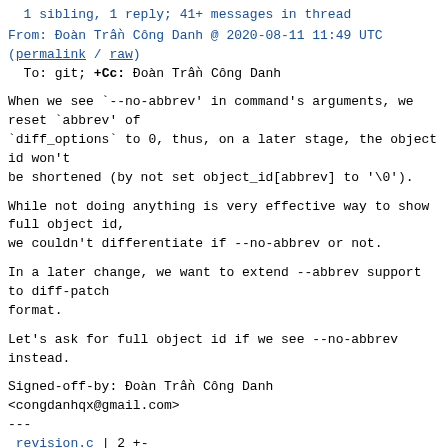1 sibling, 1 reply; 41+ messages in thread
From: Đoàn Trần Công Danh @ 2020-08-11 11:49 UTC
(permalink / raw)
  To: git; +Cc: Đoàn Trần Công Danh
When we see `--no-abbrev' in command's arguments, we
reset `abbrev' of
`diff_options` to 0, thus, on a later stage, the object id won't
be shortened (by not set object_id[abbrev] to '\0').
While not doing anything is very effective way to show
full object id,
we couldn't differentiate if --no-abbrev or not.
In a later change, we want to extend --abbrev support
to diff-patch
format.
Let's ask for full object id if we see --no-abbrev
instead.
Signed-off-by: Đoàn Trần Công Danh
<congdanhqx@gmail.com>
---
 revision.c | 2 +-
 1 file changed, 1 insertion(+), 1 deletion(-)
diff --git a/revision.c b/revision.c
index 3dcf689341..24027b1af3 100644